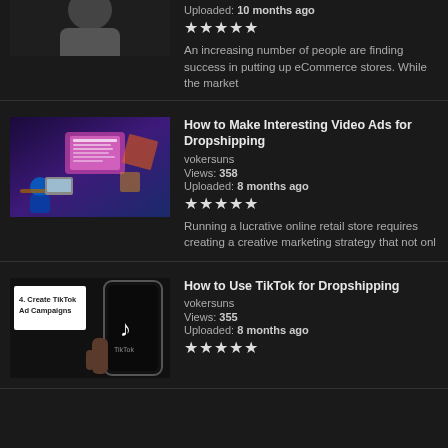[Figure (screenshot): Partial video thumbnail - top portion of person in dark clothing]
Uploaded: 10 months ago
[Figure (other): 5-star rating]
An increasing number of people are finding success in putting up eCommerce stores. While the market
[Figure (screenshot): Video ad tutorial thumbnail with purple/blue design showing laptop, text about demographics and video commissions]
How to Make Interesting Video Ads for Dropshipping
vokersuns
Views: 358
Uploaded: 8 months ago
[Figure (other): 5-star rating]
Running a lucrative online retail store requires creating a creative marketing strategy that not onl
[Figure (screenshot): TikTok tutorial thumbnail showing phone with TikTok app and overlay card '4. Create TikTok Ad Campaigns']
How to Use TikTok for Dropshipping
vokersuns
Views: 355
Uploaded: 8 months ago
[Figure (other): 5-star rating]